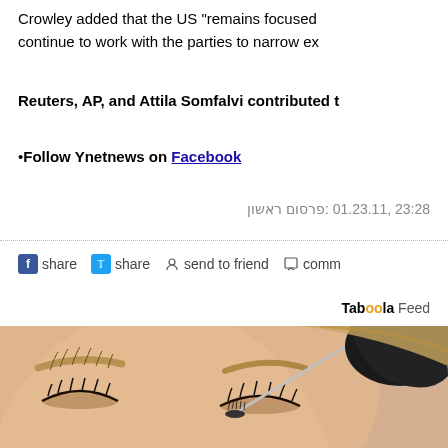Crowley added that the US "remains focused continue to work with the parties to narrow ex
Reuters, AP, and Attila Somfalvi contributed t
•Follow Ynetnews on Facebook
פרסום ראשון: 01.23.11 ,23:28
share  share  send to friend  comm
Taboola Feed
[Figure (photo): Close-up photo of a woman with closed eyes having her eyebrow groomed with a mascara brush held by a gloved hand in a black surgical glove]